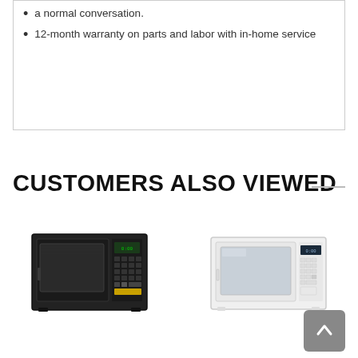a normal conversation.
12-month warranty on parts and labor with in-home service
CUSTOMERS ALSO VIEWED
[Figure (photo): Black countertop microwave oven]
[Figure (photo): White countertop microwave oven]